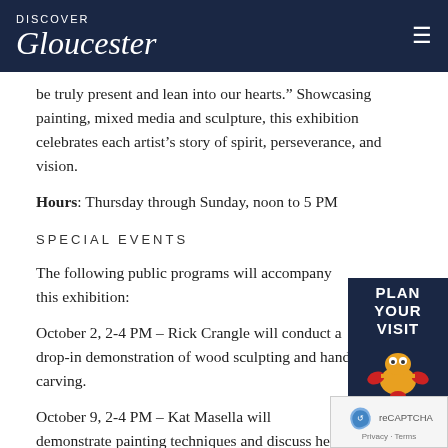Discover Gloucester
be truly present and lean into our hearts." Showcasing painting, mixed media and sculpture, this exhibition celebrates each artist's story of spirit, perseverance, and vision.
Hours: Thursday through Sunday, noon to 5 PM
SPECIAL EVENTS
The following public programs will accompany this exhibition:
October 2, 2-4 PM – Rick Crangle will conduct a drop-in demonstration of wood sculpting and hand-carving.
October 9, 2-4 PM – Kat Masella will demonstrate painting techniques and discuss her process
[Figure (illustration): Plan Your Visit badge with lobster mascot illustration]